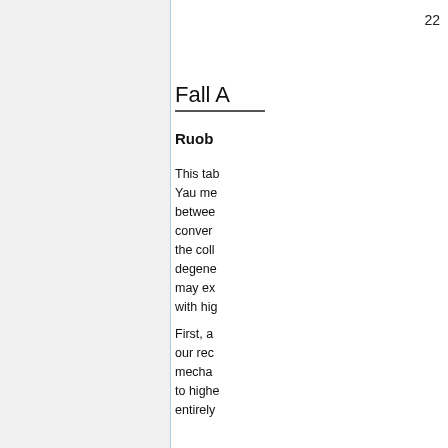22
Fall A
Ruob
This tab Yau me between conver the coll degene may ex with hig
First, a our rec mecha to highe entirely